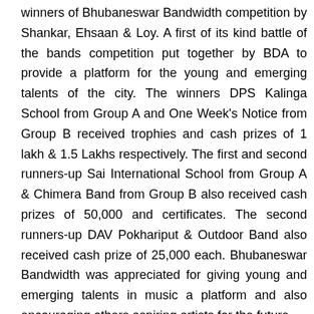winners of Bhubaneswar Bandwidth competition by Shankar, Ehsaan & Loy. A first of its kind battle of the bands competition put together by BDA to provide a platform for the young and emerging talents of the city. The winners DPS Kalinga School from Group A and One Week's Notice from Group B received trophies and cash prizes of 1 lakh & 1.5 Lakhs respectively. The first and second runners-up Sai International School from Group A & Chimera Band from Group B also received cash prizes of 50,000 and certificates. The second runners-up DAV Pokhariput & Outdoor Band also received cash prize of 25,000 each. Bhubaneswar Bandwidth was appreciated for giving young and emerging talents in music a platform and also encouraging others aspiring artists for the future.
The festival, which coincides with Odisha Hockey Men's World Cup 2018 hosted in Bhubaneswar, saw an astounding turnout of 500,000 of attendees from different parts of the world and the country. The festival did not even last being the food of